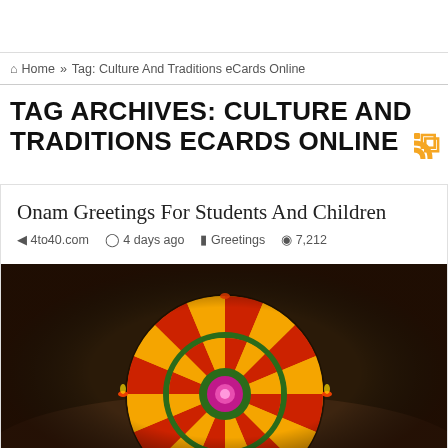🏠 Home » Tag: Culture And Traditions eCards Online
TAG ARCHIVES: CULTURE AND TRADITIONS ECARDS ONLINE
Onam Greetings For Students And Children
4to40.com  4 days ago  Greetings  7,212
[Figure (photo): A colorful floral rangoli / pookalam (traditional Indian flower arrangement) with concentric circular patterns in yellow, orange, red, and green flowers, with small oil lamps visible around the edges. Dark background.]